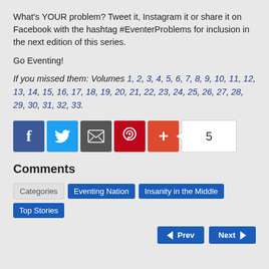What's YOUR problem? Tweet it, Instagram it or share it on Facebook with the hashtag #EventerProblems for inclusion in the next edition of this series.
Go Eventing!
If you missed them: Volumes 1, 2, 3, 4, 5, 6, 7, 8, 9, 10, 11, 12, 13, 14, 15, 16, 17, 18, 19, 20, 21, 22, 23, 24, 25, 26, 27, 28, 29, 30, 31, 32, 33.
[Figure (infographic): Social share buttons: Facebook, Twitter, Email, Pinterest, Google+, and share count of 5]
Comments
Categories   Eventing Nation   Insanity in the Middle   Top Stories
Prev   Next